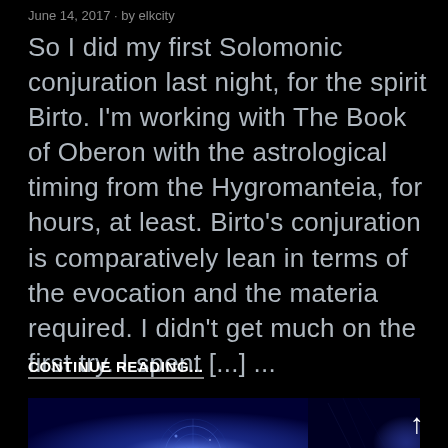June 14, 2017 · by elkcity
So I did my first Solomonic conjuration last night, for the spirit Birto. I'm working with The Book of Oberon with the astrological timing from the Hygromanteia, for hours, at least. Birto's conjuration is comparatively lean in terms of the evocation and the materia required. I didn't get much on the first try. I spent [...] ...
CONTINUE READING...
[Figure (photo): Dark blue-toned mystical image showing an arcane/occult scene with glowing light sources and geometric patterns, possibly a magical circle or portal with ethereal blue lighting]